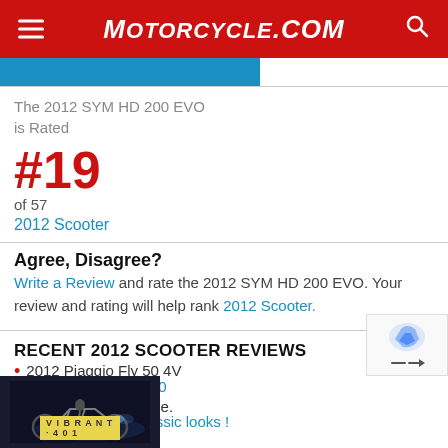MOTORCYCLE.COM
The 2012 SYM HD 200 EVO is Rated
#19
of 57
2012 Scooter
Agree, Disagree?
Write a Review and rate the 2012 SYM HD 200 EVO. Your review and rating will help rank 2012 Scooter.
RECENT 2012 SCOOTER REVIEWS
2012 Piaggio Fly 50 4V
2012 Piaggio Fly 50
2012 Vespa S 150 i.e.
Solid handling, classic looks !
[Figure (photo): Advertisement banner showing a motorcycle rider and Husqvarna brand ad with text 'Ride your own way.']